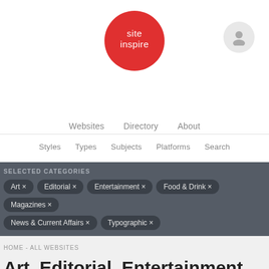[Figure (logo): SiteInspire red circle logo with white text 'site inspire']
[Figure (illustration): Gray circle with person/user silhouette icon]
Websites  Directory  About
Styles  Types  Subjects  Platforms  Search
SELECTED CATEGORIES
Art ×
Editorial ×
Entertainment ×
Food & Drink ×
Magazines ×
News & Current Affairs ×
Typographic ×
HOME - ALL WEBSITES
Art, Editorial, Entertainment, Food & Drink, Magazines, News & Current Affairs, and Typographic websites